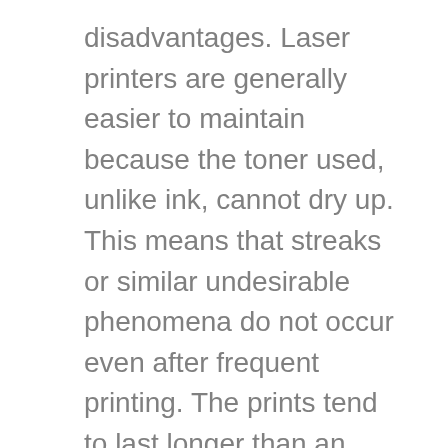disadvantages. Laser printers are generally easier to maintain because the toner used, unlike ink, cannot dry up. This means that streaks or similar undesirable phenomena do not occur even after frequent printing. The prints tend to last longer than an inkjet printer, while at the same time the printing speed is faster. However, laser printers cannot do without their disadvantages.
Quite a few are likely to be put off by the quite high entry costs. In direct comparison, laser printers are almost always more expensive than comparable inkjet printers. The power consumption is also significantly higher and some laser printers can also release harmful substances during printing. This is